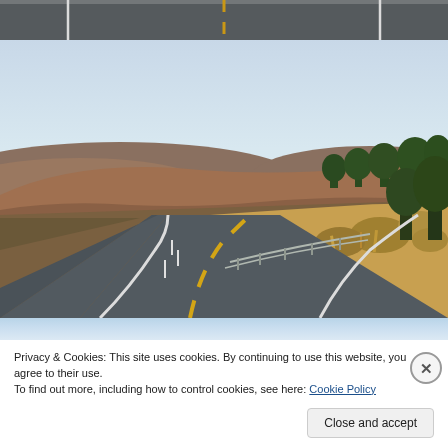[Figure (photo): Top partial view of an asphalt road with a yellow center line and white edge line, viewed from above, with dry grass visible at the edge.]
[Figure (photo): Photograph of a two-lane asphalt highway curving to the right with a yellow center line and white edge line. Rolling hills with dry brown and red soil and sparse green trees visible in the background under a pale blue sky. Dry golden grass and shrubs line the right side of the road. Metal guardrails are visible along the curve.]
Privacy & Cookies: This site uses cookies. By continuing to use this website, you agree to their use.
To find out more, including how to control cookies, see here: Cookie Policy
Close and accept